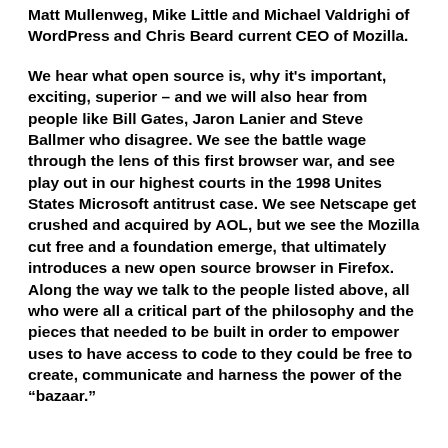Matt Mullenweg, Mike Little and Michael Valdrighi of WordPress and Chris Beard current CEO of Mozilla.
We hear what open source is, why it's important, exciting, superior – and we will also hear from people like Bill Gates, Jaron Lanier and Steve Ballmer who disagree. We see the battle wage through the lens of this first browser war, and see play out in our highest courts in the 1998 Unites States Microsoft antitrust case. We see Netscape get crushed and acquired by AOL, but we see the Mozilla cut free and a foundation emerge, that ultimately introduces a new open source browser in Firefox. Along the way we talk to the people listed above, all who were all a critical part of the philosophy and the pieces that needed to be built in order to empower uses to have access to code to they could be free to create, communicate and harness the power of the “bazaar.”